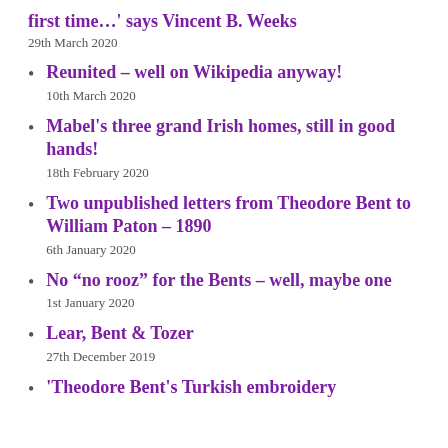first time…' says Vincent B. Weeks
29th March 2020
Reunited – well on Wikipedia anyway!
10th March 2020
Mabel's three grand Irish homes, still in good hands!
18th February 2020
Two unpublished letters from Theodore Bent to William Paton – 1890
6th January 2020
No “no rooz” for the Bents – well, maybe one
1st January 2020
Lear, Bent & Tozer
27th December 2019
'Theodore Bent's Turkish embroidery